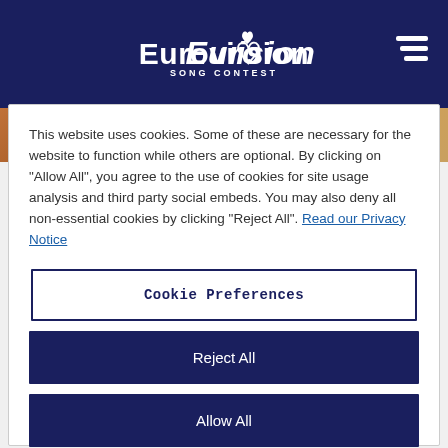[Figure (logo): Eurovision Song Contest logo — stylized text 'Eurovision' with a heart above the 'o', 'Song Contest' beneath, white on dark navy background. Hamburger menu icon at top right.]
[Figure (photo): Partial photograph visible behind the cookie consent modal — warm-toned image strip.]
This website uses cookies. Some of these are necessary for the website to function while others are optional. By clicking on "Allow All", you agree to the use of cookies for site usage analysis and third party social embeds. You may also deny all non-essential cookies by clicking "Reject All". Read our Privacy Notice
Cookie Preferences
Reject All
Allow All